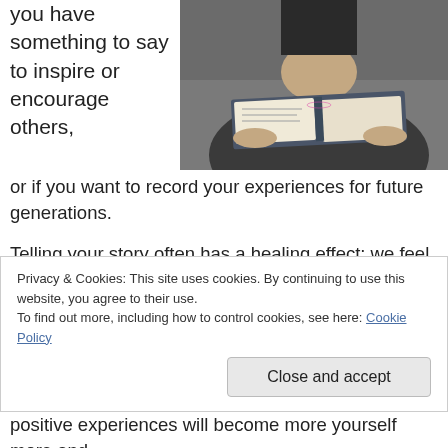you have something to say to inspire or encourage others, or if you want to record your experiences for future generations.
[Figure (photo): A woman holding an open book up to her face, reading, photographed from a slightly elevated angle against a grey background.]
Telling your story often has a healing effect: we feel purged of negative emotions as we write them down. So it can be positively therapeutic to write a memoir. Psychologists say that memories of traumatic events are reorganised internally as we speak about them, and filed
Privacy & Cookies: This site uses cookies. By continuing to use this website, you agree to their use.
To find out more, including how to control cookies, see here: Cookie Policy
Close and accept
positive experiences will become more yourself more and